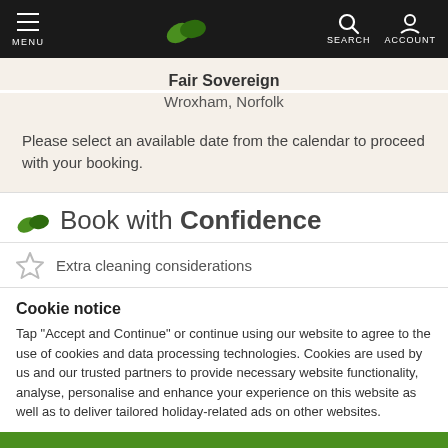MENU | [logo] | SEARCH ACCOUNT
Fair Sovereign
Wroxham, Norfolk
Please select an available date from the calendar to proceed with your booking.
Book with Confidence
Extra cleaning considerations
Cookie notice
Tap "Accept and Continue" or continue using our website to agree to the use of cookies and data processing technologies. Cookies are used by us and our trusted partners to provide necessary website functionality, analyse, personalise and enhance your experience on this website as well as to deliver tailored holiday-related ads on other websites.
Accept and Continue